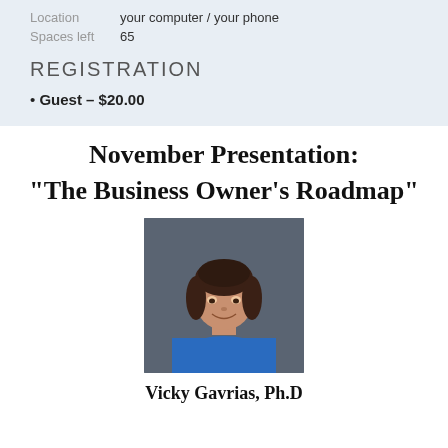Location   your computer / your phone
Spaces left   65
REGISTRATION
Guest – $20.00
November Presentation:
"The Business Owner's Roadmap"
[Figure (photo): Headshot of Vicky Gavrias, Ph.D — a woman with dark shoulder-length hair, smiling, wearing a blue jacket, against a dark background.]
Vicky Gavrias, Ph.D